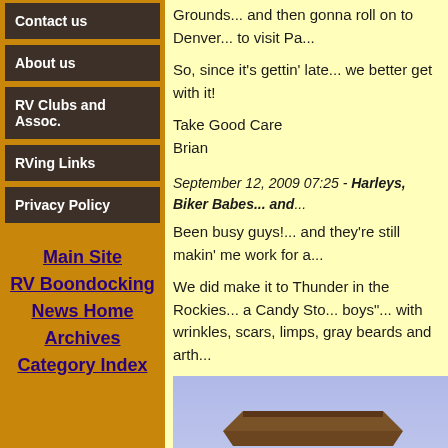Contact us
About us
RV Clubs and Assoc.
RVing Links
Privacy Policy
Main Site
RV Boondocking
News Home
Archives
Category Index
Grounds... and then gonna roll on to Denver... to visit Pa...
So, since it's gettin' late... we better get with it!
Take Good Care
Brian
September 12, 2009 07:25 - Harleys, Biker Babes... and...
Been busy guys!... and they're still makin' me work for a...
We did make it to Thunder in the Rockies... a Candy Sto... boys"... with wrinkles, scars, limps, gray beards and arth...
[Figure (photo): Harley-Davidson Motor Cycles sign on a tall wooden tower structure with 'THUNDER' text at the base, photographed against a blue sky]